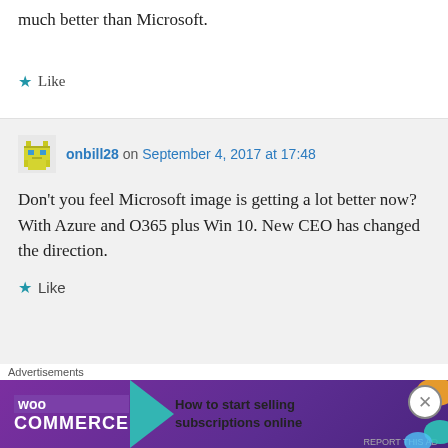much better than Microsoft.
★ Like
onbill28 on September 4, 2017 at 17:48
Don't you feel Microsoft image is getting a lot better now? With Azure and O365 plus Win 10. New CEO has changed the direction.
★ Like
Simon Phipps on September 4, 2017
[Figure (other): WooCommerce advertisement banner: 'How to start selling subscriptions online']
Advertisements